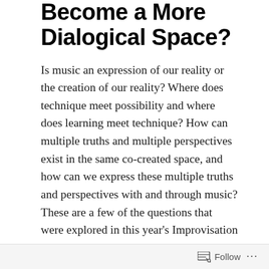Become a More Dialogical Space?
Is music an expression of our reality or the creation of our reality? Where does technique meet possibility and where does learning meet technique? How can multiple truths and multiple perspectives exist in the same co-created space, and how can we express these multiple truths and perspectives with and through music? These are a few of the questions that were explored in this year's Improvisation Class during the Cultures in Harmony-Atlas Music Festival.   The festival, held in Tunisia in the small town of Beni Mtir
Follow